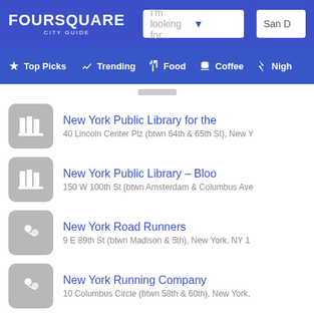[Figure (screenshot): Foursquare City Guide header with logo, search bar showing 'I'm looking for...', and location showing 'San D']
[Figure (screenshot): Navigation bar with Top Picks, Trending, Food, Coffee, Nigh... tabs]
New York Public Library for the
40 Lincoln Center Plz (btwn 64th & 65th St), New Y
New York Public Library – Bloo
150 W 100th St (btwn Amsterdam & Columbus Ave
New York Road Runners
9 E 89th St (btwn Madison & 5th), New York, NY 1
New York Running Company
10 Columbus Circle (btwn 58th & 60th), New York,
New York Sal's Pizza
696 10th Ave (49th), New York, NY 10019